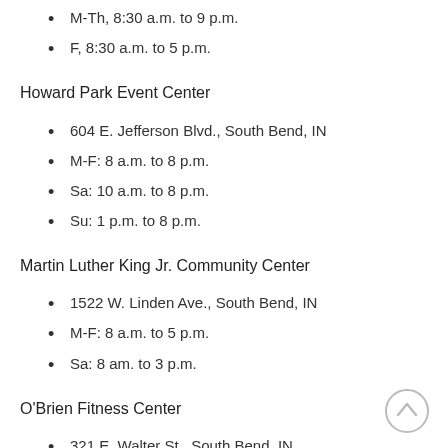M-Th, 8:30 a.m. to 9 p.m.
F, 8:30 a.m. to 5 p.m.
Howard Park Event Center
604 E. Jefferson Blvd., South Bend, IN
M-F: 8 a.m. to 8 p.m.
Sa: 10 a.m. to 8 p.m.
Su: 1 p.m. to 8 p.m.
Martin Luther King Jr. Community Center
1522 W. Linden Ave., South Bend, IN
M-F: 8 a.m. to 5 p.m.
Sa: 8 am. to 3 p.m.
O'Brien Fitness Center
321 E. Walter St., South Bend, IN